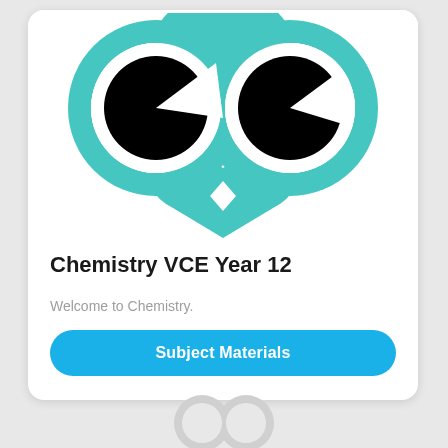[Figure (logo): Owl face logo with two large teal circular eyes with white sclera and black pupils (cut off at upper right), connected by a teal heart/beak shape at the bottom with a small diamond cutout.]
Chemistry VCE Year 12
Welcome to Chemistry.
Subject Materials